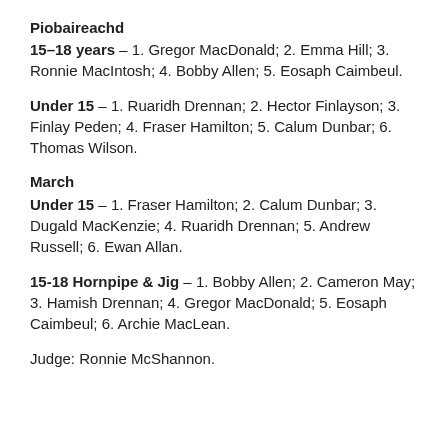Piobaireachd
15–18 years – 1. Gregor MacDonald; 2. Emma Hill; 3. Ronnie MacIntosh; 4. Bobby Allen; 5. Eosaph Caimbeul.
Under 15 – 1. Ruaridh Drennan; 2. Hector Finlayson; 3. Finlay Peden; 4. Fraser Hamilton; 5. Calum Dunbar; 6. Thomas Wilson.
March
Under 15 – 1. Fraser Hamilton; 2. Calum Dunbar; 3. Dugald MacKenzie; 4. Ruaridh Drennan; 5. Andrew Russell; 6. Ewan Allan.
15-18 Hornpipe & Jig – 1. Bobby Allen; 2. Cameron May; 3. Hamish Drennan; 4. Gregor MacDonald; 5. Eosaph Caimbeul; 6. Archie MacLean.
Judge: Ronnie McShannon.